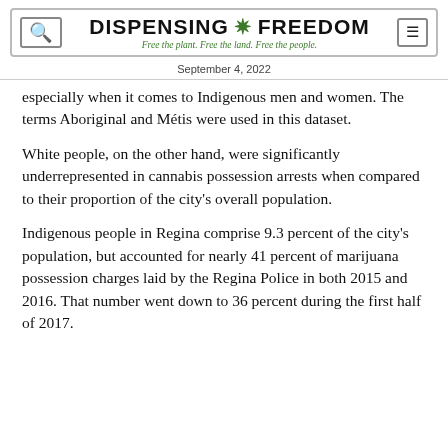DISPENSING ✿ FREEDOM — Free the plant. Free the land. Free the people.
September 4, 2022
especially when it comes to Indigenous men and women. The terms Aboriginal and Métis were used in this dataset.
White people, on the other hand, were significantly underrepresented in cannabis possession arrests when compared to their proportion of the city's overall population.
Indigenous people in Regina comprise 9.3 percent of the city's population, but accounted for nearly 41 percent of marijuana possession charges laid by the Regina Police in both 2015 and 2016. That number went down to 36 percent during the first half of 2017.